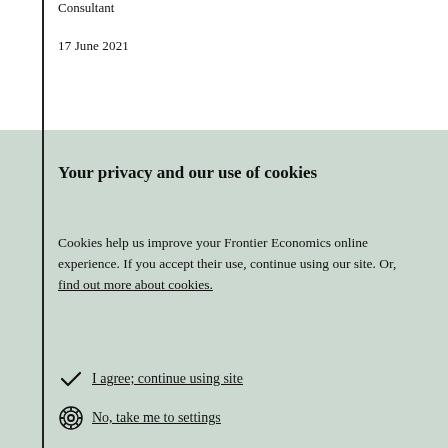Consultant
17 June 2021
Your privacy and our use of cookies
Cookies help us improve your Frontier Economics online experience. If you accept their use, continue using our site. Or, find out more about cookies.
I agree; continue using site
No, take me to settings